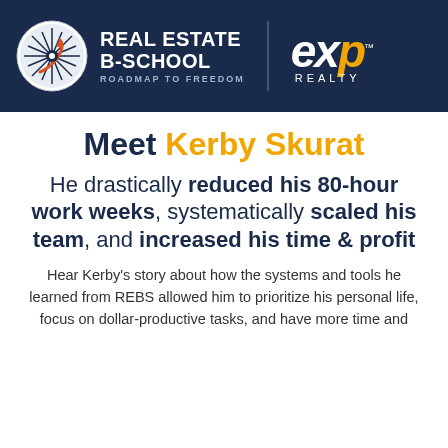[Figure (logo): Real Estate B-School and eXp Realty logos on dark navy header bar]
Meet Kerby Skurat
He drastically reduced his 80-hour work weeks, systematically scaled his team, and increased his time & profit
Hear Kerby's story about how the systems and tools he learned from REBS allowed him to prioritize his personal life, focus on dollar-productive tasks, and have more time and